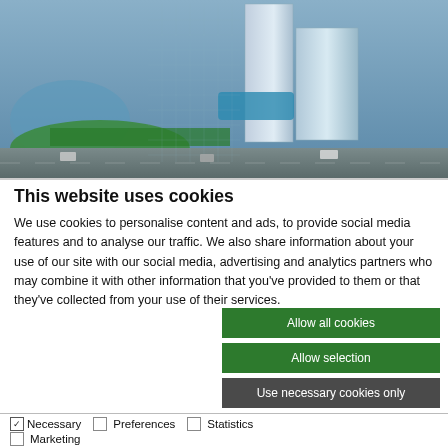[Figure (photo): Aerial view of a modern high-rise residential/commercial building complex with green landscaping, a pool area, and surrounding roads]
This website uses cookies
We use cookies to personalise content and ads, to provide social media features and to analyse our traffic. We also share information about your use of our site with our social media, advertising and analytics partners who may combine it with other information that you've provided to them or that they've collected from your use of their services.
Allow all cookies
Allow selection
Use necessary cookies only
Necessary  Preferences  Statistics  Marketing  Show details